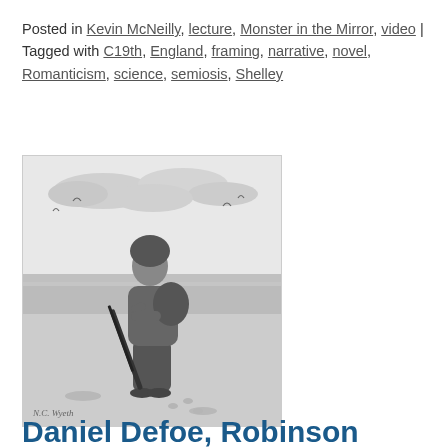Posted in Kevin McNeilly, lecture, Monster in the Mirror, video | Tagged with C19th, England, framing, narrative, novel, Romanticism, science, semiosis, Shelley
[Figure (illustration): Black and white illustration of Robinson Crusoe standing on a beach carrying a rifle and pack, wearing fur/hide clothing, with birds and ocean in background. Signed 'N.C. Wyeth' style engraving.]
Daniel Defoe, Robinson